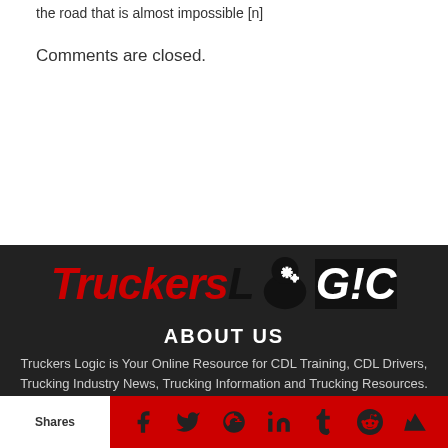the road that is almost impossible [n]
Comments are closed.
[Figure (logo): Truckers Logic logo with red italic 'Truckers' text and black 'LOGIC' text with gear icon]
ABOUT US
Truckers Logic is Your Online Resource for CDL Training, CDL Drivers, Trucking Industry News, Trucking Information and Trucking Resources. We provide you with Relevant News...
Shares | Facebook | Twitter | Google+ | LinkedIn | Tumblr | Reddit | Crown